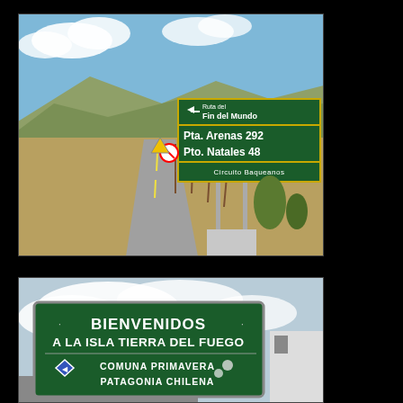[Figure (photo): Road sign along a Patagonian highway reading 'Ruta del Fin del Mundo', 'Pta. Arenas 292', 'Pto. Natales 48', and 'Circuito Baqueanos'. Background shows a flat road with mountains and dry grassland.]
[Figure (photo): Close-up photo of a green road sign reading 'BIENVENIDOS A LA ISLA TIERRA DEL FUEGO', 'COMUNA PRIMAVERA', 'PATAGONIA CHILENA' with a cloudy sky background.]